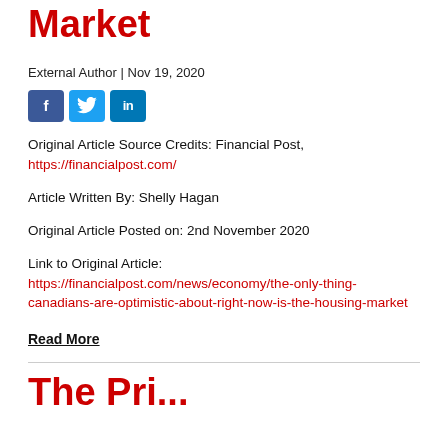Market
External Author | Nov 19, 2020
[Figure (other): Social media share icons: Facebook, Twitter, LinkedIn]
Original Article Source Credits: Financial Post, https://financialpost.com/
Article Written By: Shelly Hagan
Original Article Posted on: 2nd November 2020
Link to Original Article: https://financialpost.com/news/economy/the-only-thing-canadians-are-optimistic-about-right-now-is-the-housing-market
Read More
The Pri...